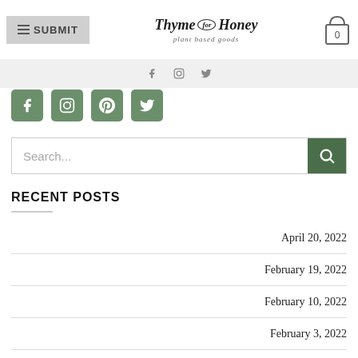Thyme for Honey — plant based goods
[Figure (logo): Thyme for Honey logo with decorative wreath and text 'plant based goods']
[Figure (infographic): Social media icons: Facebook, Instagram, Twitter in gray on light bar]
[Figure (infographic): Green square social media icons: Facebook, Instagram, Pinterest, Twitter]
Search...
RECENT POSTS
April 20, 2022
February 19, 2022
February 10, 2022
February 3, 2022